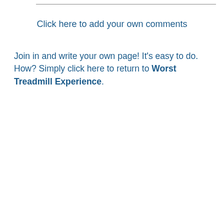Click here to add your own comments
Join in and write your own page! It's easy to do. How? Simply click here to return to Worst Treadmill Experience.